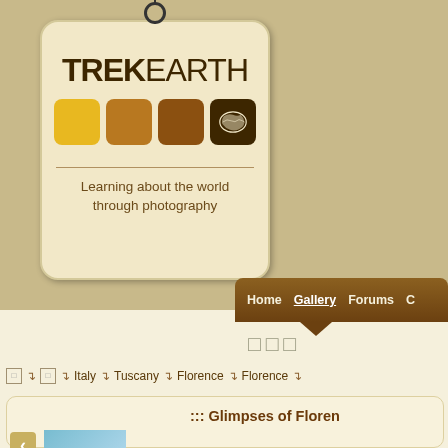[Figure (logo): TrekEarth logo tag with TREK EARTH text, colored squares (yellow, orange, brown, dark brown with world map), divider, and tagline 'Learning about the world through photography']
Home   Gallery   Forums   C...
□□□
□→  □→  Italy→  Tuscany→  Florence→  Florence→
::: Glimpses of Floren...